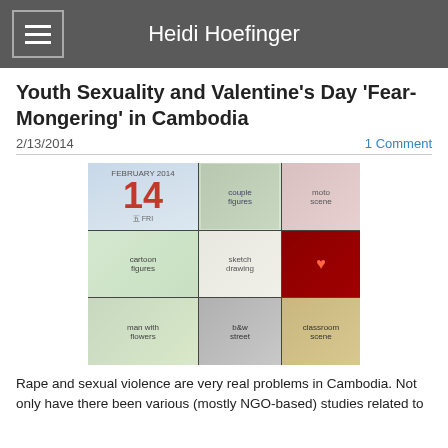Heidi Hoefinger
Youth Sexuality and Valentine's Day 'Fear-Mongering' in Cambodia
2/13/2014
1 Comment
[Figure (photo): Collage of images related to Valentine's Day in Cambodia: calendar showing February 14 2014, couples, cartoon figures, sketch drawings, heart illustration, black and white street photo, and classroom scene.]
Rape and sexual violence are very real problems in Cambodia. Not only have there been various (mostly NGO-based) studies related to